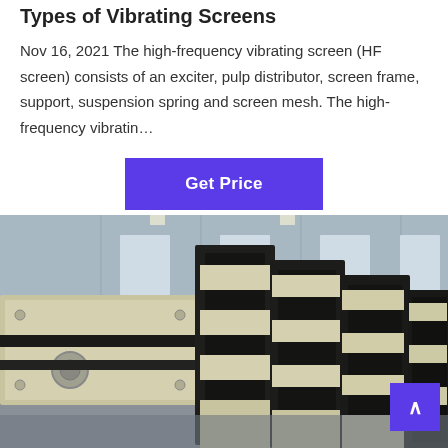Types of Vibrating Screens
Nov 16, 2021 The high-frequency vibrating screen (HF screen) consists of an exciter, pulp distributor, screen frame, support, suspension spring and screen mesh. The high-frequency vibratin…
[Figure (other): Purple 'Get Price' button]
[Figure (photo): Industrial vibrating screens stacked in a factory/warehouse setting. Large cream/beige and black metal vibrating screen units are arranged in a factory with grey corrugated metal walls and high ceilings.]